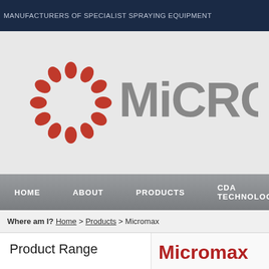MANUFACTURERS OF SPECIALIST SPRAYING EQUIPMENT
[Figure (logo): Micron logo: red circular droplet pattern icon on the left, grey text 'MiCRO' (partially visible) on the right, on a light grey background]
HOME   ABOUT   PRODUCTS   CDA TECHNOLOGY
Where am I? Home > Products > Micromax
Product Range
Our Range of Products
Agriculture & Forestry
Micromax
Designed for vehicle-mounted spinning disc rotary atomiser fo